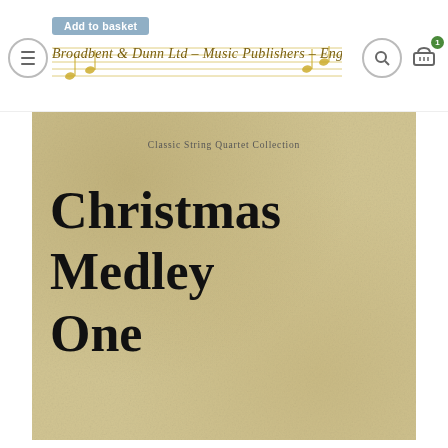Broadbent & Dunn Ltd - Music Publishers - England
[Figure (illustration): Sheet music cover for 'Christmas Medley One' from the Classic String Quartet Collection, published by Broadbent & Dunn Ltd. Parchment-colored background with large serif title text.]
Classic String Quartet Collection
Christmas Medley One